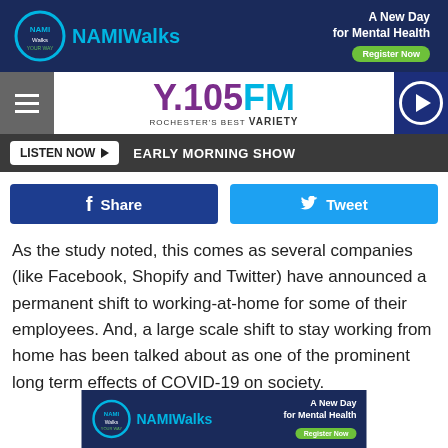[Figure (screenshot): NAMI Walks advertisement banner - A New Day for Mental Health, Register Now button]
[Figure (logo): Y.105FM Rochester's Best Variety radio station logo with hamburger menu and play button]
LISTEN NOW  EARLY MORNING SHOW
Share
Tweet
As the study noted, this comes as several companies (like Facebook, Shopify and Twitter) have announced a permanent shift to working-at-home for some of their employees. And, a large scale shift to stay working from home has been talked about as one of the prominent long term effects of COVID-19 on society.
[Figure (screenshot): NAMI Walks advertisement banner at bottom - A New Day for Mental Health, Register Now button]